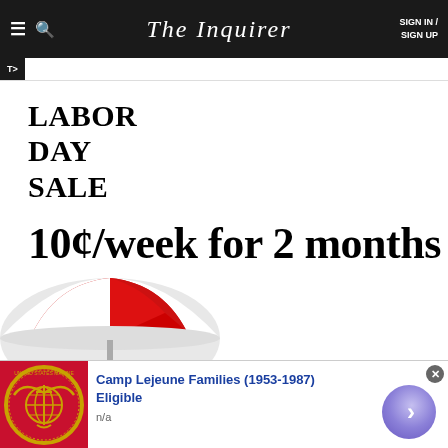The Inquirer | SIGN IN / SIGN UP
LABOR DAY SALE
10¢/week for 2 months
[Figure (illustration): Beach umbrella illustration with red and white parasol and yellow bucket/bag]
[Figure (illustration): Ad banner: Camp Lejeune Families (1953-1987) Eligible. Shows US Marine Corps emblem on red background, blue headline text, and a purple arrow button.]
Camp Lejeune Families (1953-1987) Eligible
n/a